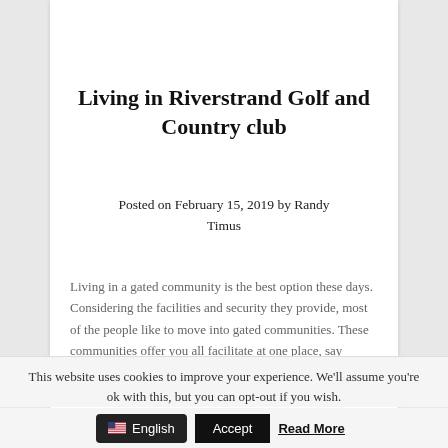[Figure (logo): Riverstrand Golf and Country Club watermark logo, light gray]
Living in Riverstrand Golf and Country club
Posted on February 15, 2019 by Randy Timus
Living in a gated community is the best option these days. Considering the facilities and security they provide, most of the people like to move into gated communities. These communities offer you all facilitate at one place, say within the walls of the community,and one need not have to go out to access such facilities....
This website uses cookies to improve your experience. We'll assume you're ok with this, but you can opt-out if you wish.